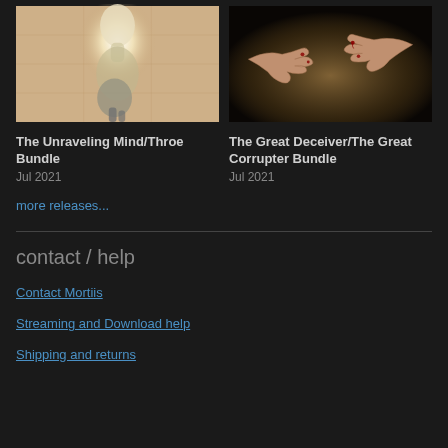[Figure (photo): Album cover for The Unraveling Mind/Throe Bundle - a glowing ethereal bird-like figure on sepia background]
The Unraveling Mind/Throe Bundle
Jul 2021
[Figure (photo): Album cover for The Great Deceiver/The Great Corrupter Bundle - dark image of outstretched hands with wounds]
The Great Deceiver/The Great Corrupter Bundle
Jul 2021
more releases...
contact / help
Contact Mortiis
Streaming and Download help
Shipping and returns